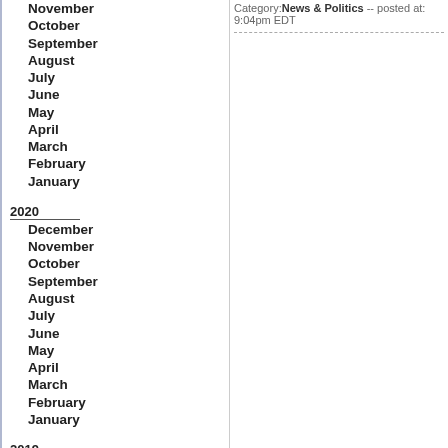November
October
September
August
July
June
May
April
March
February
January
2020
December
November
October
September
August
July
June
May
April
March
February
January
2019
December
November
October
September
August
July
Category: News & Politics -- posted at: 9:04pm EDT